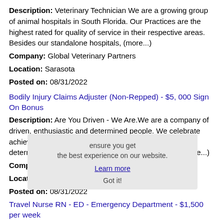Description: Veterinary Technician We are a growing group of animal hospitals in South Florida. Our Practices are the highest rated for quality of service in their respective areas. Besides our standalone hospitals, (more...)
Company: Global Veterinary Partners
Location: Sarasota
Posted on: 08/31/2022
Bodily Injury Claims Adjuster (Non-Repped) - $5, 000 Sign On Bonus
Description: Are You Driven - We Are.We are a company of driven, enthusiastic and determined people. We celebrate achievement and success. We foster innovation, determination and recognition. Because of that, our (more...)
Company: GAINSCO Auto Insurance
Location: Sarasota
Posted on: 08/31/2022
Travel Nurse RN - ED - Emergency Department - $1,500 per week
Description: American Mobile Healthcare is seeking a travel nurse RN ED - Emergency Department for a travel nursing job in Sarasota, Florida.Job Description Requirements ul li Specialty: ED - Emergency Department (more...)